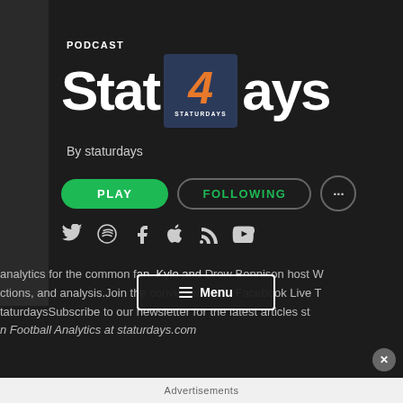PODCAST
Stat 4ays
By staturdays
[Figure (screenshot): Spotify podcast page for 'Stat4ays' showing PLAY button, FOLLOWING button, social media icons (Twitter, Spotify, Facebook, Apple, RSS, YouTube), and a Menu overlay. Bottom shows partial description text and Advertisements bar.]